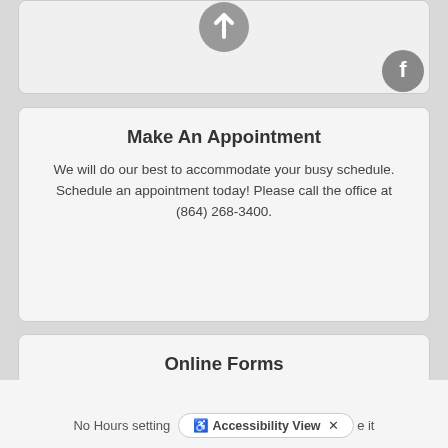[Figure (illustration): Partial card at top with a circular gray arrow/check icon centered at top and a circular gray Facebook icon at top right]
Make An Appointment
We will do our best to accommodate your busy schedule. Schedule an appointment today! Please call the office at (864) 268-3400.
Online Forms
Our patient forms are available online so they can be completed in the convenience of your own home or office.
[Figure (illustration): Circular gray button with a right-pointing chevron arrow]
No Hours setting
Accessibility View  X  e it